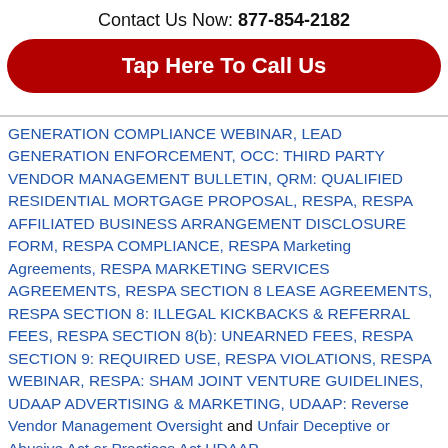Contact Us Now: 877-854-2182
[Figure (other): Red rounded rectangle button with white text: Tap Here To Call Us]
GENERATION COMPLIANCE WEBINAR, LEAD GENERATION ENFORCEMENT, OCC: THIRD PARTY VENDOR MANAGEMENT BULLETIN, QRM: QUALIFIED RESIDENTIAL MORTGAGE PROPOSAL, RESPA, RESPA AFFILIATED BUSINESS ARRANGEMENT DISCLOSURE FORM, RESPA COMPLIANCE, RESPA Marketing Agreements, RESPA MARKETING SERVICES AGREEMENTS, RESPA SECTION 8 LEASE AGREEMENTS, RESPA SECTION 8: ILLEGAL KICKBACKS & REFERRAL FEES, RESPA SECTION 8(b): UNEARNED FEES, RESPA SECTION 9: REQUIRED USE, RESPA VIOLATIONS, RESPA WEBINAR, RESPA: SHAM JOINT VENTURE GUIDELINES, UDAAP ADVERTISING & MARKETING, UDAAP: Reverse Vendor Management Oversight and Unfair Deceptive or Abusive Act or Practices Act UDAAP
Tagged: 3rd Party Vendor Management, CFPB Enforcement, Compliance Management System, Consumer Financial